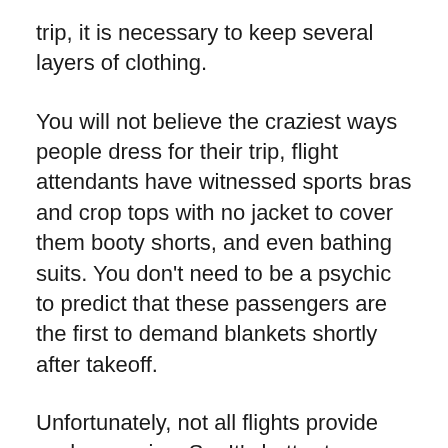trip, it is necessary to keep several layers of clothing.
You will not believe the craziest ways people dress for their trip, flight attendants have witnessed sports bras and crop tops with no jacket to cover them booty shorts, and even bathing suits. You don't need to be a psychic to predict that these passengers are the first to demand blankets shortly after takeoff.
Unfortunately, not all flights provide such a service. So, It's better to wear different layers of clothes on a plane. This way, you can always control how warmly you are dressed.